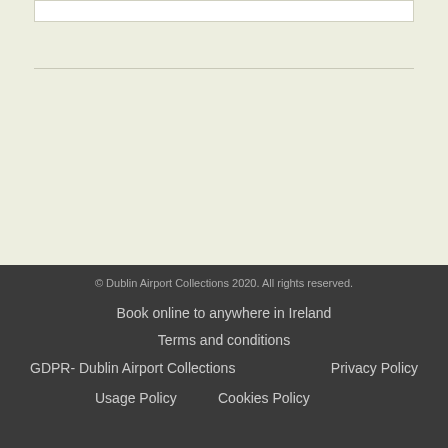© Dublin Airport Collections 2020. All rights reserved.
Book online to anywhere in Ireland
Terms and conditions
GDPR- Dublin Airport Collections
Privacy Policy
Usage Policy
Cookies Policy